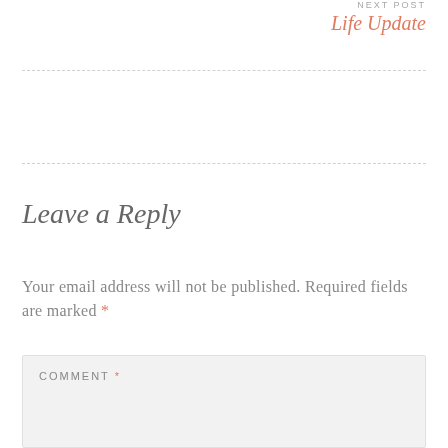NEXT POST
Life Update
Leave a Reply
Your email address will not be published. Required fields are marked *
COMMENT *